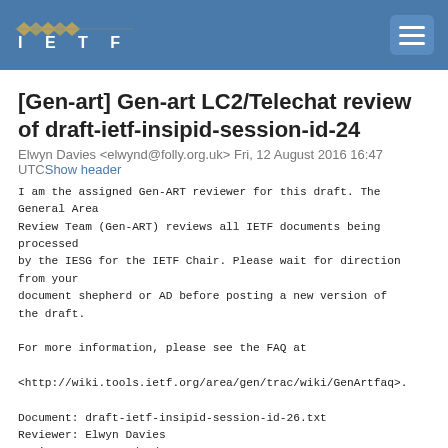IETF
[Gen-art] Gen-art LC2/Telechat review of draft-ietf-insipid-session-id-24
Elwyn Davies <elwynd@folly.org.uk> Fri, 12 August 2016 16:47 UTCShow header
I am the assigned Gen-ART reviewer for this draft. The General Area
Review Team (Gen-ART) reviews all IETF documents being processed
by the IESG for the IETF Chair. Please wait for direction from your
document shepherd or AD before posting a new version of the draft.

For more information, please see the FAQ at

<http://wiki.tools.ietf.org/area/gen/trac/wiki/GenArtfaq>.

Document: draft-ietf-insipid-session-id-26.txt
Reviewer: Elwyn Davies
Review Date: 2016/08/12
IETF LC End Date: 2016/09/01